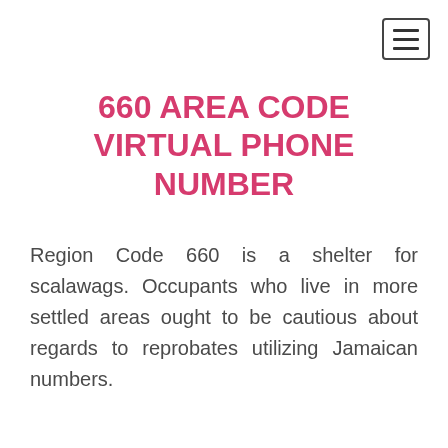[Figure (other): Hamburger menu button icon — three horizontal lines inside a bordered square]
660 AREA CODE VIRTUAL PHONE NUMBER
Region Code 660 is a shelter for scalawags. Occupants who live in more settled areas ought to be cautious about regards to reprobates utilizing Jamaican numbers.